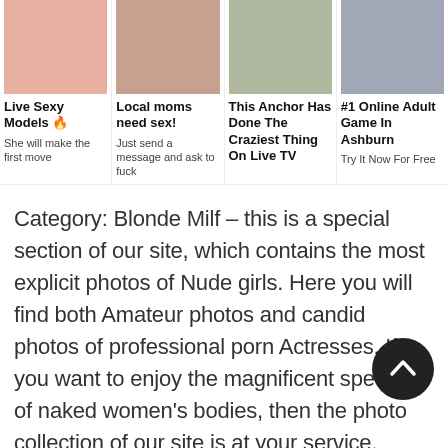[Figure (other): Ad grid with 4 sponsored content tiles showing images and text]
Category: Blonde Milf – this is a special section of our site, which contains the most explicit photos of Nude girls. Here you will find both Amateur photos and candid photos of professional porn Actresses. If you want to enjoy the magnificent spectacle of naked women's bodies, then the photo collection of our site is at your service. Erotic underwear that only slightly covers the most piquant parts of the female body, light mystery that more and more inflames your imagination, erotic poses that fascinate the imagination – all this you can find in